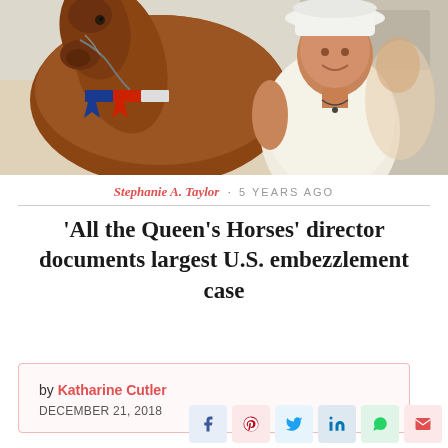[Figure (photo): Photo of a person in a white cowboy hat standing next to a horse wearing a ribbon/award sash]
Stephanie A. Taylor · 5 YEARS AGO
'All the Queen's Horses' director documents largest U.S. embezzlement case
by Katharine Cutler
DECEMBER 21, 2018